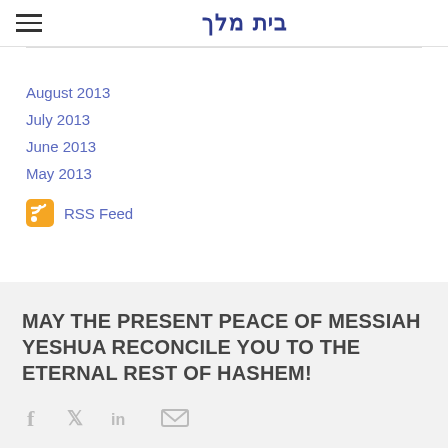בית מלך
August 2013
July 2013
June 2013
May 2013
RSS Feed
MAY THE PRESENT PEACE OF MESSIAH YESHUA RECONCILE YOU TO THE ETERNAL REST OF HASHEM!
[Figure (other): Social media icons: Facebook, Twitter, LinkedIn, Email]